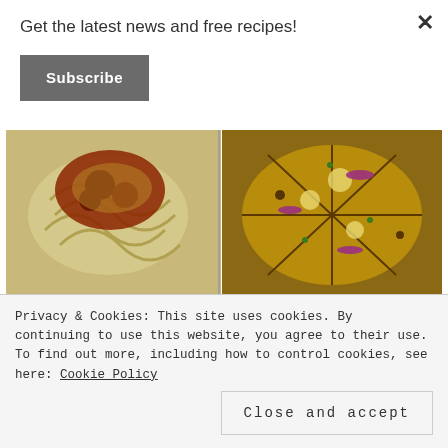[Figure (screenshot): Food recipe website screenshot showing a grid of food images: pasta with tomato sauce top-left, cauliflower pizza top-right, and partial images of other dishes below. A newsletter signup overlay appears at top and a cookie consent banner at bottom.]
Get the latest news and free recipes!
Subscribe
Privacy & Cookies: This site uses cookies. By continuing to use this website, you agree to their use.
To find out more, including how to control cookies, see here: Cookie Policy
Close and accept